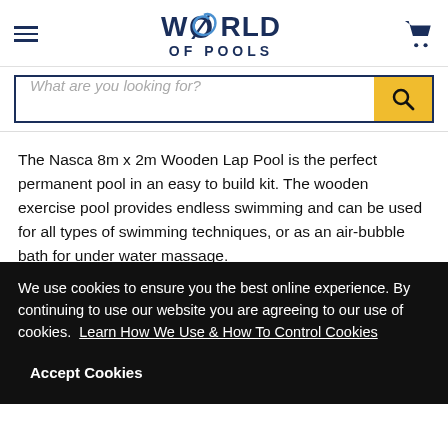[Figure (logo): World of Pools logo with hamburger menu and cart icon in navy blue header bar]
[Figure (screenshot): Search input bar with placeholder 'What are you looking for?' and yellow search button]
The Nasca 8m x 2m Wooden Lap Pool is the perfect permanent pool in an easy to build kit. The wooden exercise pool provides endless swimming and can be used for all types of swimming techniques, or as an air-bubble bath for under water massage.
This Plastica Wooden Nazca 8m x 2m Lap pool can be
We use cookies to ensure you the best online experience. By continuing to use our website you are agreeing to our use of cookies.  Learn How We Use & How To Control Cookies
Accept Cookies